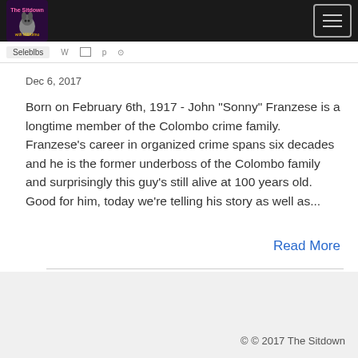The Sitdown [logo] [hamburger menu]
Dec 6, 2017
Born on February 6th, 1917 - John "Sonny" Franzese is a longtime member of the Colombo crime family. Franzese's career in organized crime spans six decades and he is the former underboss of the Colombo family and surprisingly this guy's still alive at 100 years old. Good for him, today we're telling his story as well as...
Read More
© © 2017 The Sitdown